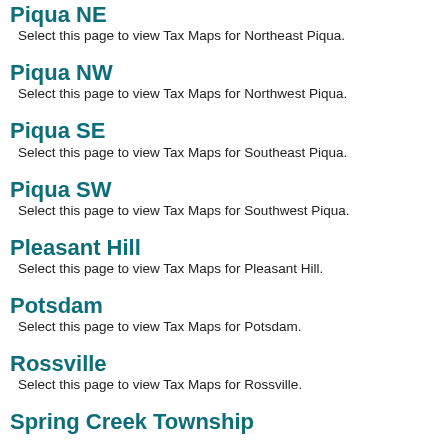Piqua NE
Select this page to view Tax Maps for Northeast Piqua.
Piqua NW
Select this page to view Tax Maps for Northwest Piqua.
Piqua SE
Select this page to view Tax Maps for Southeast Piqua.
Piqua SW
Select this page to view Tax Maps for Southwest Piqua.
Pleasant Hill
Select this page to view Tax Maps for Pleasant Hill.
Potsdam
Select this page to view Tax Maps for Potsdam.
Rossville
Select this page to view Tax Maps for Rossville.
Spring Creek Township